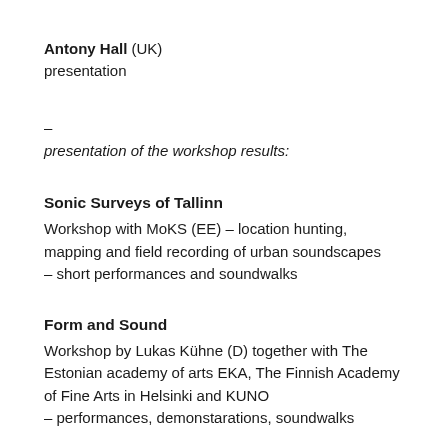Antony Hall (UK)
presentation
–
presentation of the workshop results:
Sonic Surveys of Tallinn
Workshop with MoKS (EE) – location hunting, mapping and field recording of urban soundscapes
– short performances and soundwalks
Form and Sound
Workshop by Lukas Kühne (D) together with The Estonian academy of arts EKA, The Finnish Academy of Fine Arts in Helsinki and KUNO
– performances, demonstarations, soundwalks